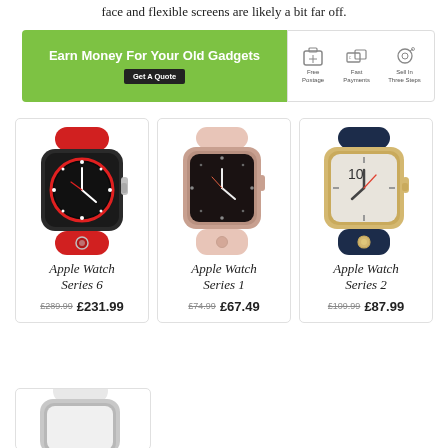face and flexible screens are likely a bit far off.
[Figure (infographic): Green banner advertisement: 'Earn Money For Your Old Gadgets' with a 'Get A Quote' button. Icons on the right show Free Postage, Fast Payments, Sell In Three Steps.]
[Figure (photo): Apple Watch Series 6 with red sport band]
Apple Watch Series 6
£289.99  £231.99
[Figure (photo): Apple Watch Series 1 with pink sand sport band]
Apple Watch Series 1
£74.99  £67.49
[Figure (photo): Apple Watch Series 2 with midnight blue sport band and gold case]
Apple Watch Series 2
£109.99  £87.99
[Figure (photo): Partial view of a white Apple Watch at the bottom of the page]